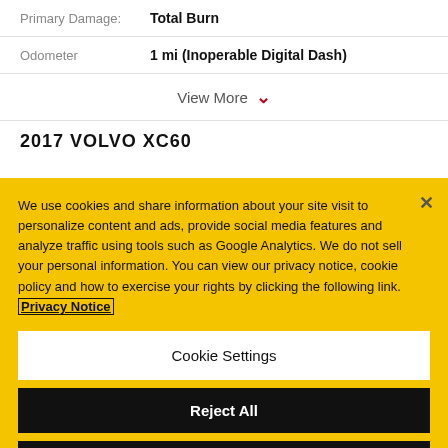Primary Damage: Total Burn
Odometer: 1 mi (Inoperable Digital Dash)
View More
2017 VOLVO XC60
We use cookies and share information about your site visit to personalize content and ads, provide social media features and analyze traffic using tools such as Google Analytics. We do not sell your personal information. You can view our privacy notice, cookie policy and how to exercise your rights by clicking the following link. Privacy Notice
Cookie Settings
Reject All
Accept Cookies